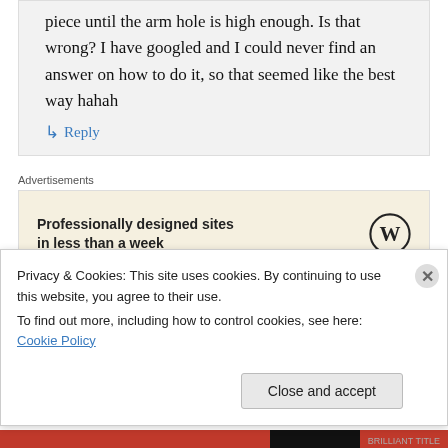piece until the arm hole is high enough. Is that wrong? I have googled and I could never find an answer on how to do it, so that seemed like the best way hahah
↳ Reply
Advertisements
Professionally designed sites in less than a week
goodbyevalentino on November 4, 2013 at 10:50 am
Privacy & Cookies: This site uses cookies. By continuing to use this website, you agree to their use.
To find out more, including how to control cookies, see here: Cookie Policy
Close and accept